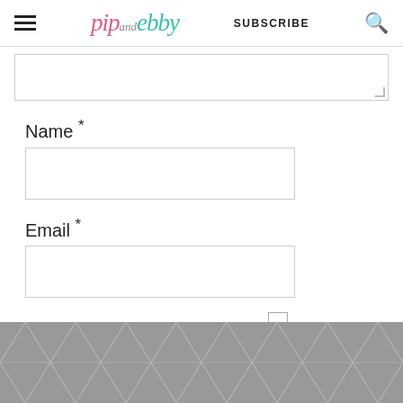pip and ebby — SUBSCRIBE
[Figure (screenshot): Partially visible textarea input field with resize handle in bottom-right corner]
Name *
[Figure (screenshot): Empty text input box for Name field]
Email *
[Figure (screenshot): Empty text input box for Email field]
[Figure (screenshot): Checkbox (unchecked)]
Save my name, email, and website in this browser for the next time I comm...
[Figure (illustration): Geometric diamond/chevron pattern overlay at bottom of page in gray tones]